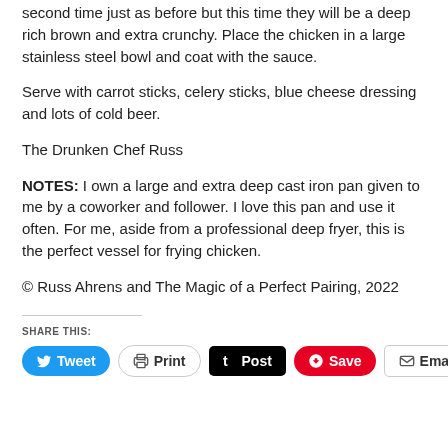second time just as before but this time they will be a deep rich brown and extra crunchy. Place the chicken in a large stainless steel bowl and coat with the sauce.
Serve with carrot sticks, celery sticks, blue cheese dressing and lots of cold beer.
The Drunken Chef Russ
NOTES: I own a large and extra deep cast iron pan given to me by a coworker and follower. I love this pan and use it often. For me, aside from a professional deep fryer, this is the perfect vessel for frying chicken.
© Russ Ahrens and The Magic of a Perfect Pairing, 2022
SHARE THIS:
Tweet | Print | Post | Save | Email